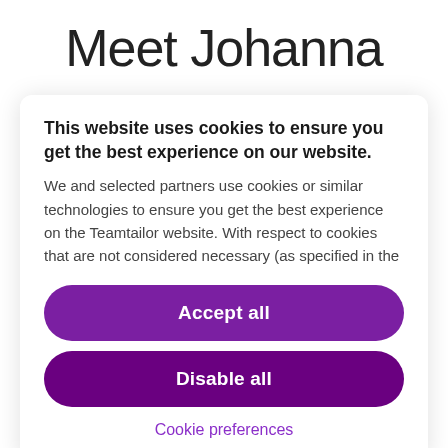Meet Johanna
This website uses cookies to ensure you get the best experience on our website.
We and selected partners use cookies or similar technologies to ensure you get the best experience on the Teamtailor website. With respect to cookies that are not considered necessary (as specified in the
Accept all
Disable all
Cookie preferences